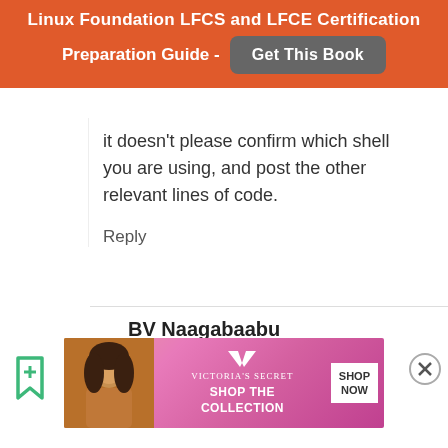[Figure (infographic): Orange banner ad for Linux Foundation LFCS and LFCE Certification Preparation Guide with a 'Get This Book' button]
it doesn't please confirm which shell you are using, and post the other relevant lines of code.
Reply
BV Naagabaabu
May 23, 2016 at 8:11 pm
[Figure (infographic): Victoria's Secret advertisement banner - Shop The Collection, Shop Now]